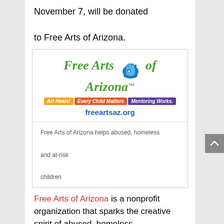November 7, will be donated to Free Arts of Arizona.
[Figure (logo): Free Arts of Arizona logo with blue hand/star icon, green italic text reading 'Free Arts of Arizona™', three colored tagline banners ('Art Heals!', 'Every Child Matters', 'Mentoring Works.'), and website freeartsaz.org. Below a divider: caption text 'Free Arts of Arizona helps abused, homeless and at-risk children']
Free Arts of Arizona is a nonprofit organization that sparks the creative spirit of abused, homeless and at-risk children through the power of artistic expression. Since 1993, Free Arts has touched the lives of nearly 60,000 children living in more than 100 group